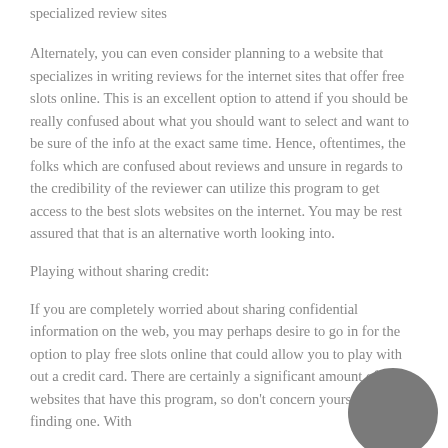specialized review sites
Alternately, you can even consider planning to a website that specializes in writing reviews for the internet sites that offer free slots online. This is an excellent option to attend if you should be really confused about what you should want to select and want to be sure of the info at the exact same time. Hence, oftentimes, the folks which are confused about reviews and unsure in regards to the credibility of the reviewer can utilize this program to get access to the best slots websites on the internet. You may be rest assured that that is an alternative worth looking into.
Playing without sharing credit:
If you are completely worried about sharing confidential information on the web, you may perhaps desire to go in for the option to play free slots online that could allow you to play with out a credit card. There are certainly a significant amount of websites that have this program, so don't concern yourself with not finding one. With